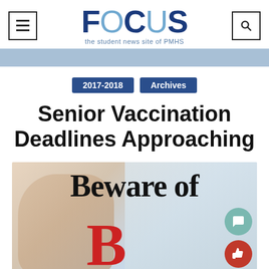FOCUS – the student news site of PMHS
2017-2018   Archives
Senior Vaccination Deadlines Approaching
[Figure (photo): Photo with overlay text 'Beware of B' – a person with a blurred background, large black bold text 'Beware of' and a large red letter 'B' overlaid on the image, with a comment bubble icon and thumbs-up icon floating on the right side.]